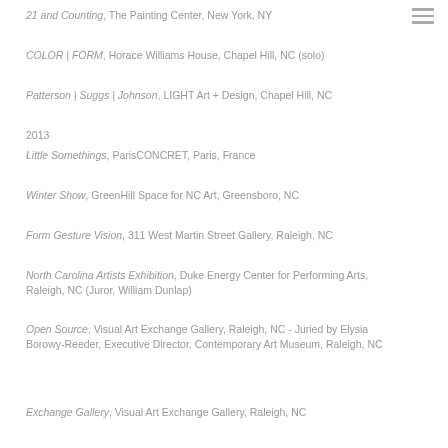21 and Counting, The Painting Center, New York, NY
COLOR | FORM, Horace Williams House, Chapel Hill, NC (solo)
Patterson | Suggs | Johnson, LIGHT Art + Design, Chapel Hill, NC
2013
Little Somethings, ParisCONCRET, Paris, France
Winter Show, GreenHill Space for NC Art, Greensboro, NC
Form Gesture Vision, 311 West Martin Street Gallery, Raleigh, NC
North Carolina Artists Exhibition, Duke Energy Center for Performing Arts, Raleigh, NC (Juror, William Dunlap)
Open Source, Visual Art Exchange Gallery, Raleigh, NC - Juried by Elysia Borowy-Reeder, Executive Director, Contemporary Art Museum, Raleigh, NC
Exchange Gallery, Visual Art Exchange Gallery, Raleigh, NC